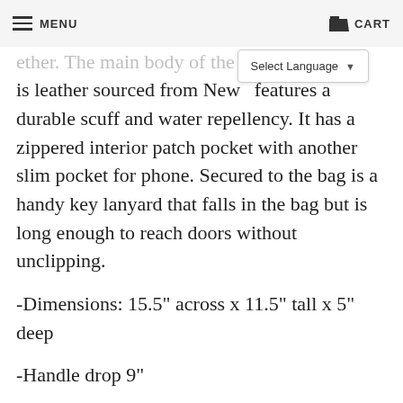MENU   CART
is leather sourced from New [obscured] features a durable scuff and water repellency. It has a zippered interior patch pocket with another slim pocket for phone. Secured to the bag is a handy key lanyard that falls in the bag but is long enough to reach doors without unclipping.
-Dimensions: 15.5" across x 11.5" tall x 5" deep
-Handle drop 9"